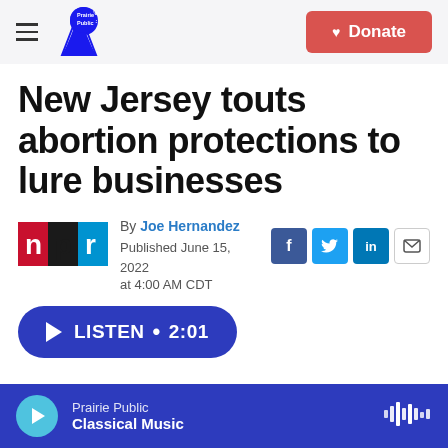Prairie Public | Donate
New Jersey touts abortion protections to lure businesses
By Joe Hernandez
Published June 15, 2022 at 4:00 AM CDT
LISTEN • 2:01
Prairie Public Classical Music